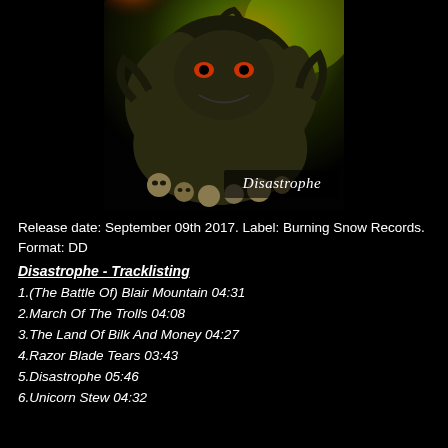[Figure (illustration): Album cover art for Disastrophe showing dark fantasy/death metal imagery with monstrous creatures, skulls, and the band name 'Disastrophe' in gothic lettering at the bottom right]
Release date: September 09th 2017. Label: Burning Snow Records. Format: DD
Disastrophe - Tracklisting
1.(The Battle Of) Blair Mountain 04:31
2.March Of The Trolls 04:08
3.The Land Of Bilk And Money 04:27
4.Razor Blade Tears 03:43
5.Disastrophe 05:46
6.Unicorn Stew 04:32